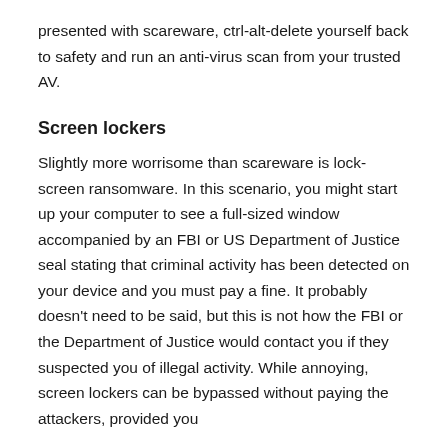presented with scareware, ctrl-alt-delete yourself back to safety and run an anti-virus scan from your trusted AV.
Screen lockers
Slightly more worrisome than scareware is lock-screen ransomware. In this scenario, you might start up your computer to see a full-sized window accompanied by an FBI or US Department of Justice seal stating that criminal activity has been detected on your device and you must pay a fine. It probably doesn't need to be said, but this is not how the FBI or the Department of Justice would contact you if they suspected you of illegal activity. While annoying, screen lockers can be bypassed without paying the attackers, provided you